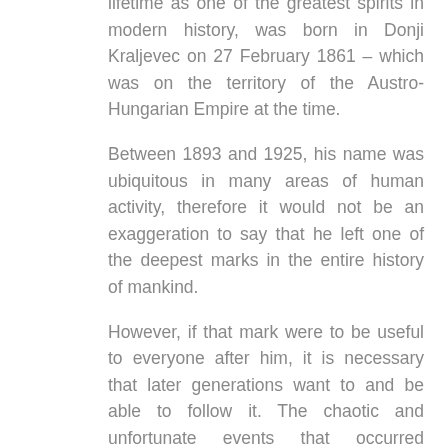lifetime as one of the greatest spirits in modern history, was born in Donji Kraljevec on 27 February 1861 – which was on the territory of the Austro-Hungarian Empire at the time.
Between 1893 and 1925, his name was ubiquitous in many areas of human activity, therefore it would not be an exaggeration to say that he left one of the deepest marks in the entire history of mankind.
However, if that mark were to be useful to everyone after him, it is necessary that later generations want to and be able to follow it. The chaotic and unfortunate events that occurred throughout the entire 20th century were marked with such an abundance of temptation of raw materialism that many lost the ability to recognise the significance of the light of such brilliance, thus he was forgotten by many. Nowadays, only a hundred years later, Rudolf Steiner's name is omitted from numerous books that pretend to at least